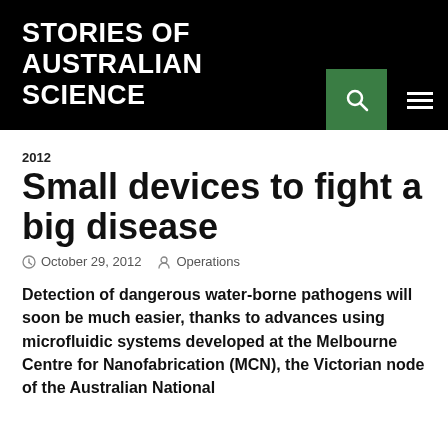STORIES OF AUSTRALIAN SCIENCE
2012
Small devices to fight a big disease
October 29, 2012   Operations
Detection of dangerous water-borne pathogens will soon be much easier, thanks to advances using microfluidic systems developed at the Melbourne Centre for Nanofabrication (MCN), the Victorian node of the Australian National